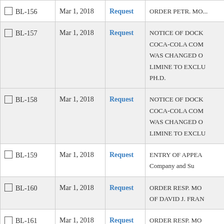| ID | Date | Type | Description |
| --- | --- | --- | --- |
| BL-156 | Mar 1, 2018 | Request | ORDER PETR. MO... |
| BL-157 | Mar 1, 2018 | Request | NOTICE OF DOCK COCA-COLA COM WAS CHANGED O LIMINE TO EXCLU PH.D. |
| BL-158 | Mar 1, 2018 | Request | NOTICE OF DOCK COCA-COLA COM WAS CHANGED O LIMINE TO EXCLU |
| BL-159 | Mar 1, 2018 | Request | ENTRY OF APPEA Company and Su |
| BL-160 | Mar 1, 2018 | Request | ORDER RESP. MO OF DAVID J. FRAN |
| BL-161 | Mar 1, 2018 | Request | ORDER RESP. MO OF MICHAEL J. LA |